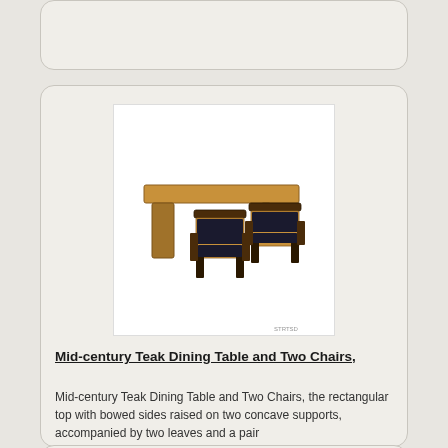[Figure (photo): Partial view of a card/listing item at the top of the page, mostly cut off]
[Figure (photo): Mid-century Teak Dining Table and Two Chairs product photo showing a rectangular teak dining table with bowed sides on two concave supports, accompanied by two wooden armchairs with dark leather/upholstered seats]
Mid-century Teak Dining Table and Two Chairs,
Mid-century Teak Dining Table and Two Chairs, the rectangular top with bowed sides raised on two concave supports, accompanied by two leaves and a pair
[Figure (photo): Partial view of an armchair with red/orange patterned upholstery, partially visible at the bottom of the page]